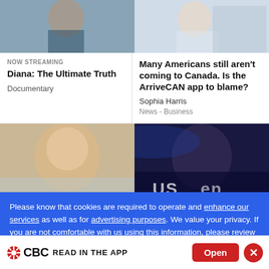[Figure (photo): Partial photo top-left: person in dark clothing]
[Figure (photo): Partial photo top-right: person outdoors]
NOW STREAMING
Diana: The Ultimate Truth
Documentary
Many Americans still aren't coming to Canada. Is the ArriveCAN app to blame?
Sophia Harris
News  -  Business
[Figure (photo): Photo of older blonde woman smiling]
[Figure (photo): Photo of tennis player at US Open]
Please know that cookies are required to operate and enhance our services as well as for advertising purposes. We value your privacy. If you are not comfortable with us using this information, please review your settings before continuing your visit.
[Figure (logo): CBC logo with gem icon and READ IN THE APP open button]